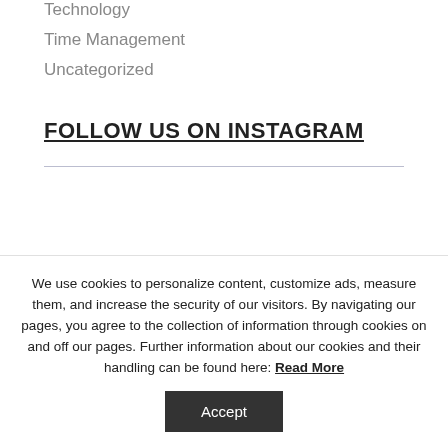Technology
Time Management
Uncategorized
FOLLOW US ON INSTAGRAM
We use cookies to personalize content, customize ads, measure them, and increase the security of our visitors. By navigating our pages, you agree to the collection of information through cookies on and off our pages. Further information about our cookies and their handling can be found here: Read More
Accept